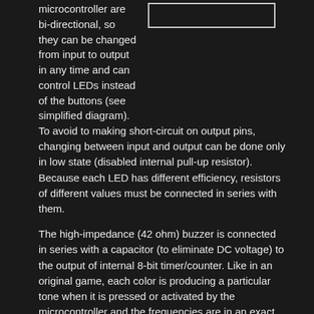microcontroller are bi-directional, so they can be changed from input to output in any time and can control LEDs instead of the buttons (see simplified diagram).
[Figure (schematic): White rectangle outline on dark background representing a simplified circuit diagram]
To avoid to making short-circuit on output pins, changing between input and output can be done only in low state (disabled internal pull-up resistor). Because each LED has different efficiency, resistors of different values must be connected in series with them.
The high-impedance (42 ohm) buzzer is connected in series with a capacitor (to eliminate DC voltage) to the output of internal 8-bit timer/counter. Like in an original game, each color is producing a particular tone when it is pressed or activated by the microcontroller and the frequencies are in an exact ratio 3:4:5:6 (50% duty cycle).
Sufficient pseudo-random sequences are generated by a linear congruential generator defined by the recurrence relation: